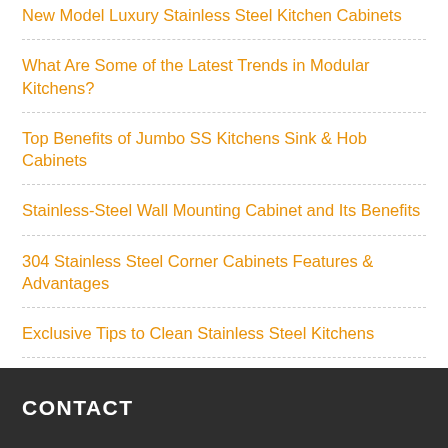New Model Luxury Stainless Steel Kitchen Cabinets
What Are Some of the Latest Trends in Modular Kitchens?
Top Benefits of Jumbo SS Kitchens Sink & Hob Cabinets
Stainless-Steel Wall Mounting Cabinet and Its Benefits
304 Stainless Steel Corner Cabinets Features & Advantages
Exclusive Tips to Clean Stainless Steel Kitchens
CONTACT